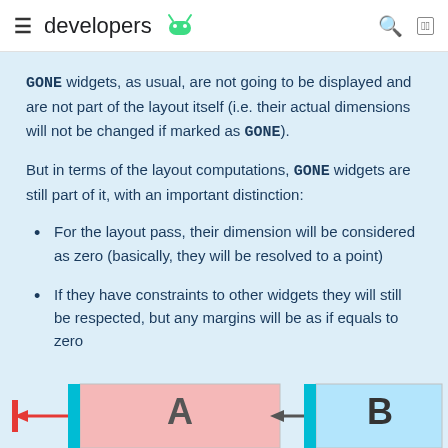developers [Android logo]
GONE widgets, as usual, are not going to be displayed and are not part of the layout itself (i.e. their actual dimensions will not be changed if marked as GONE).
But in terms of the layout computations, GONE widgets are still part of it, with an important distinction:
For the layout pass, their dimension will be considered as zero (basically, they will be resolved to a point)
If they have constraints to other widgets they will still be respected, but any margins will be as if equals to zero
[Figure (illustration): Diagram showing two boxes A and B with constraint arrows between them, A shown with pink/red background, B with light blue background, connected by horizontal arrows with cyan vertical bars]